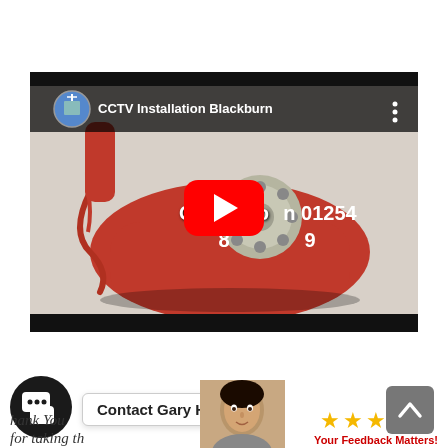[Figure (screenshot): YouTube video player showing a red rotary telephone with overlaid text 'Call us to... n 01254 8...9'. The video is titled 'CCTV Installation Blackburn' and shows a YouTube play button overlay.]
Contact Gary Here
hank You
for taking th
[Figure (photo): Close-up of a woman's face]
[Figure (infographic): Five gold stars with text 'Your Feedback Matters!' in red below]